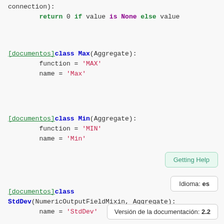connection):
    return 0 if value is None else value
[documentos]class Max(Aggregate):
    function = 'MAX'
    name = 'Max'
[documentos]class Min(Aggregate):
    function = 'MIN'
    name = 'Min'
Getting Help
Idioma: es
[documentos]class
StdDev(NumericOutputField, Aggregate):
    name = 'StdDev'
Versión de la documentación: 2.2